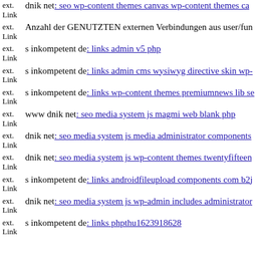ext. Link dnik net: seo wp-content themes canvas wp-content themes ca...
ext. Link Anzahl der GENUTZTEN externen Verbindungen aus user/fun...
ext. Link s inkompetent de: links admin v5 php
ext. Link s inkompetent de: links admin cms wysiwyg directive skin wp-...
ext. Link s inkompetent de: links wp-content themes premiumnews lib se...
ext. Link www dnik net: seo media system js magmi web blank php
ext. Link dnik net: seo media system js media administrator components...
ext. Link dnik net: seo media system js wp-content themes twentyfifteen...
ext. Link s inkompetent de: links androidfileupload components com b2j...
ext. Link dnik net: seo media system js wp-admin includes administrator...
ext. Link s inkompetent de: links phpthu1623918628